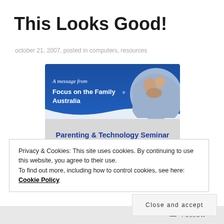This Looks Good!
october 21, 2007, posted in computers, resources
[Figure (screenshot): Banner image from Focus on the Family Australia showing a 'Parenting & Technology Seminar' advertisement with a blue header, family photo, and text asking about children's internet use.]
Privacy & Cookies: This site uses cookies. By continuing to use this website, you agree to their use.
To find out more, including how to control cookies, see here: Cookie Policy
Close and accept